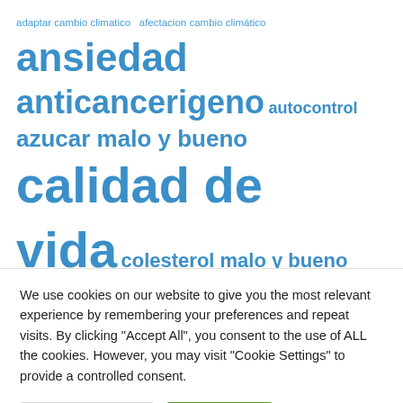[Figure (other): A word/tag cloud in blue showing Spanish health-related search terms in various font sizes: adaptar cambio climatico, afectacion cambio climático, ansiedad, anticancerigeno, autocontrol, azucar malo y bueno, calidad de vida, colesterol malo y bueno, como prevenir el cancer, crema antienvejecimiento, cremas antiarrugas, curar, depresión, dieta, and others partially visible]
We use cookies on our website to give you the most relevant experience by remembering your preferences and repeat visits. By clicking "Accept All", you consent to the use of ALL the cookies. However, you may visit "Cookie Settings" to provide a controlled consent.
Cookie Settings  Accept All